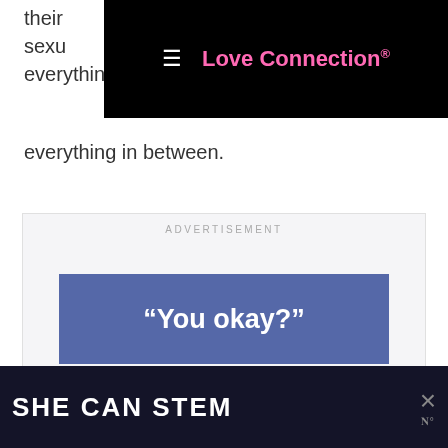their sexual everything in between.
[Figure (screenshot): Navigation bar with hamburger menu icon and 'Love Connection' logo in pink on black background]
ADVERTISEMENT
[Figure (screenshot): Blue button with white bold text reading: "You okay?"]
[Figure (screenshot): Dark bottom banner with white bold text 'SHE CAN STEM' and a close button with X icon on the right]